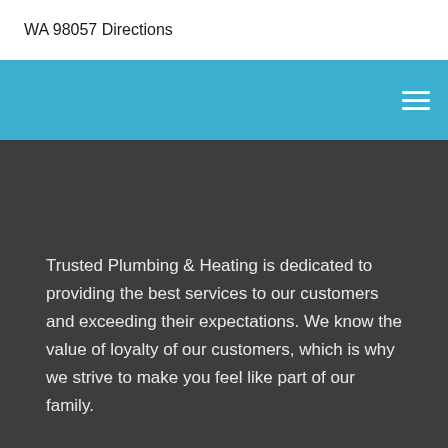WA 98057 Directions
[Figure (other): Navigation bar with teal/cyan background and hamburger menu icon on the right]
Trusted Plumbing & Heating is dedicated to providing the best services to our customers and exceeding their expectations. We know the value of loyalty of our customers, which is why we strive to make you feel like part of our family.